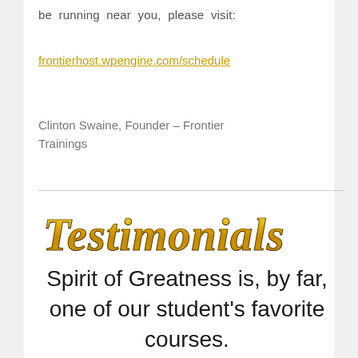be running near you, please visit:
frontierhost.wpengine.com/schedule
Clinton Swaine, Founder – Frontier Trainings
[Figure (illustration): Decorative gold metallic text logo reading TESTIMONIALS in serif font with gold gradient and dark outline]
Spirit of Greatness is, by far, one of our student's favorite courses.